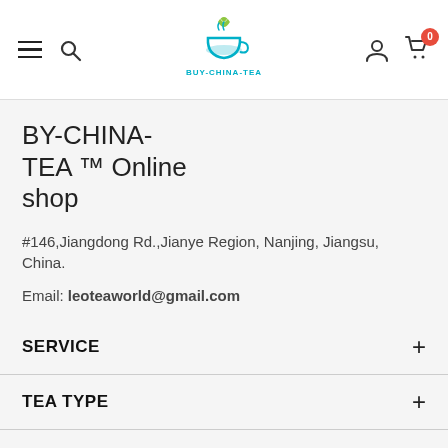BY-CHINA-TEA logo header with navigation icons and cart (0)
BY-CHINA-TEA ™ Online shop
#146,Jiangdong Rd.,Jianye Region, Nanjing, Jiangsu, China.
Email: leoteaworld@gmail.com
SERVICE
TEA TYPE
© 2020 BUY-CHINA-TEA. All Rights Reserved.
[Figure (logo): Payment method logos: VISA, Mastercard, American Express, Discover, Mastercard, PayPal]